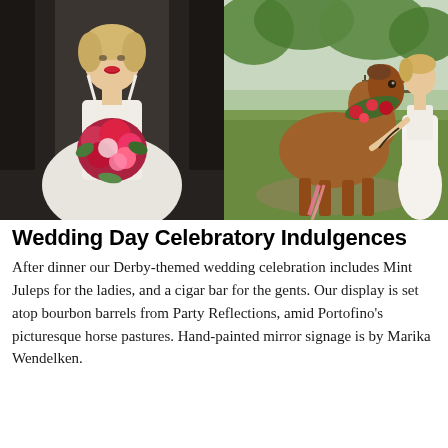[Figure (photo): Two side-by-side wedding photos. Left: blonde bride in white dress holding red and pink floral bouquet, posed in dark barn aisle. Right: bride in long white gown standing beside a chestnut horse decorated with red flowers and greenery garland, outdoors on a farm with green grass and trees.]
Wedding Day Celebratory Indulgences
After dinner our Derby-themed wedding celebration includes Mint Juleps for the ladies, and a cigar bar for the gents. Our display is set atop bourbon barrels from Party Reflections, amid Portofino's picturesque horse pastures. Hand-painted mirror signage is by Marika Wendelken.